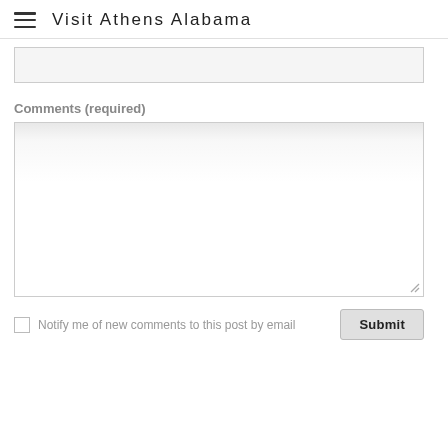Visit Athens Alabama
[Figure (screenshot): Partial text input field (top of page, cut off)]
Comments (required)
[Figure (screenshot): Large textarea input box for comments]
Notify me of new comments to this post by email
Submit